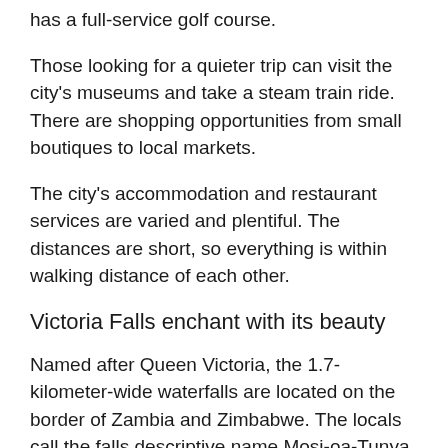has a full-service golf course.
Those looking for a quieter trip can visit the city's museums and take a steam train ride. There are shopping opportunities from small boutiques to local markets.
The city's accommodation and restaurant services are varied and plentiful. The distances are short, so everything is within walking distance of each other.
Victoria Falls enchant with its beauty
Named after Queen Victoria, the 1.7-kilometer-wide waterfalls are located on the border of Zambia and Zimbabwe. The locals call the falls descriptive name Mosi-oa-Tunya, which means a roaring fog. Victoria Falls is the only Zambia site on the UNESCO World Heritage List.
These 108 meter high waterfalls offer the traveler a different experience depending on the time of travel. The best time to travel to the waterfalls is from June to September, when there is still plenty of water in the